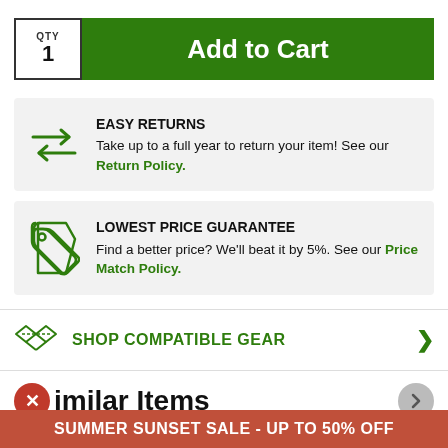QTY 1
Add to Cart
EASY RETURNS
Take up to a full year to return your item! See our Return Policy.
LOWEST PRICE GUARANTEE
Find a better price? We'll beat it by 5%. See our Price Match Policy.
SHOP COMPATIBLE GEAR
imilar Items
SUMMER SUNSET SALE - UP TO 50% OFF